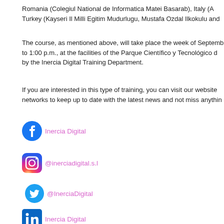Romania (Colegiul National de Informatica Matei Basarab), Italy (A... Turkey (Kayseri Il Milli Egitim Mudurlugu, Mustafa Ozdal Ilkokulu and...
The course, as mentioned above, will take place the week of September... to 1:00 p.m., at the facilities of the Parque Científico y Tecnológico d... by the Inercia Digital Training Department.
If you are interested in this type of training, you can visit our website... networks to keep up to date with the latest news and not miss anythin...
[Figure (logo): Facebook logo icon (blue circle with white f)]
Inercia Digital
[Figure (logo): Instagram logo icon (gradient square with camera outline)]
@inerciadigital.s.l
[Figure (logo): Twitter logo icon (blue bird)]
@InerciaDigital
[Figure (logo): LinkedIn logo icon (blue square with white 'in')]
Inercia Digital
[Figure (logo): TikTok logo icon (black circle with music note)]